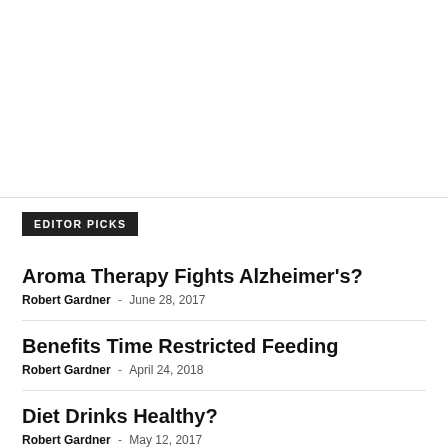EDITOR PICKS
Aroma Therapy Fights Alzheimer's?
Robert Gardner - June 28, 2017
Benefits Time Restricted Feeding
Robert Gardner - April 24, 2018
Diet Drinks Healthy?
Robert Gardner - May 12, 2017